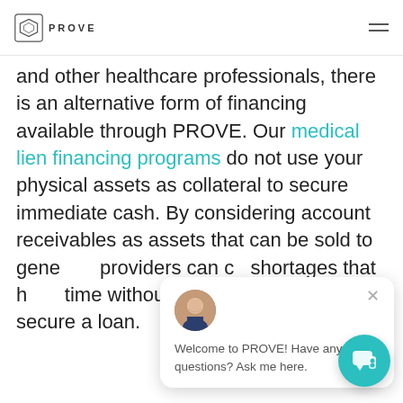PROVE
and other healthcare professionals, there is an alternative form of financing available through PROVE. Our medical lien financing programs do not use your physical assets as collateral to secure immediate cash. By considering account receivables as assets that can be sold to generate providers can co shortages that h time without risking everything to secure a loan.
[Figure (screenshot): Chat popup widget with avatar photo of a man in suit, close button (x), and text: Welcome to PROVE! Have any questions? Ask me here.]
[Figure (other): Teal circular chat button with speech bubble icon in bottom right corner]